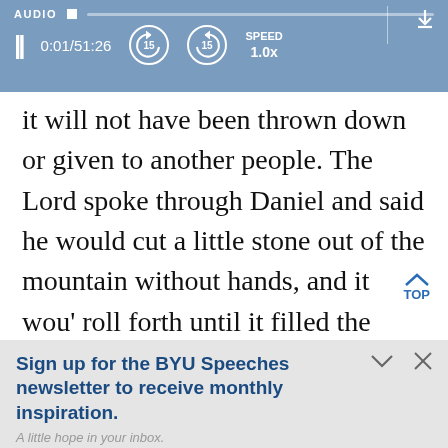[Figure (screenshot): Audio player bar showing AUDIO label, progress track with knob, download icon, pause button, time 0:01/51:26, rewind 15s, forward 15s, SPEED 1.0x controls]
it will not have been thrown down or given to another people. The Lord spoke through Daniel and said he would cut a little stone out of the mountain without hands, and it wou' roll forth until it filled the whole earth. A.
Sign up for the BYU Speeches newsletter to receive monthly inspiration.
A little hope in your inbox.
Enter your email
SUBSCRIBE